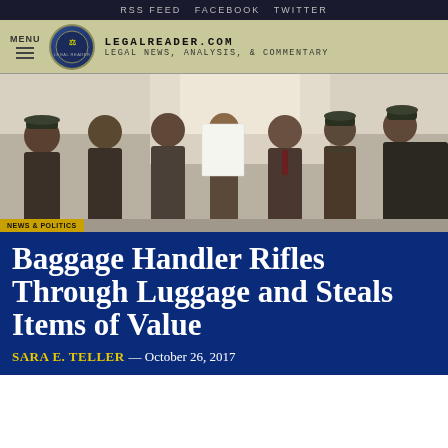RSS FEED   FACEBOOK   TWITTER
[Figure (logo): LegalReader.com website header with logo, menu button, site name and tagline]
[Figure (photo): Group of men standing together, some in military/police uniforms, one holding a white document/paper]
NEWS & POLITICS
Baggage Handler Rifles Through Luggage and Steals Items of Value
SARA E. TELLER — October 26, 2017